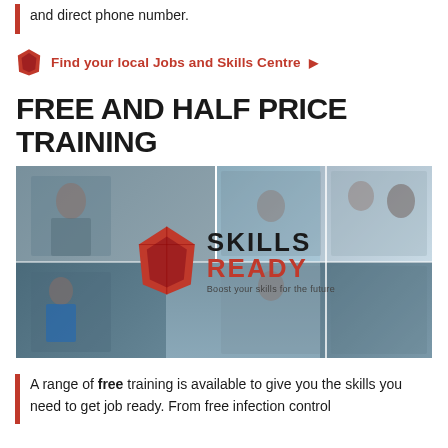and direct phone number.
Find your local Jobs and Skills Centre ▶
FREE AND HALF PRICE TRAINING
[Figure (photo): Skills Ready banner image showing a collage of workers in various industries (healthcare, trades, hospitality, manufacturing) with the Skills Ready logo and tagline 'Boost your skills for the future']
A range of free training is available to give you the skills you need to get job ready. From free infection control